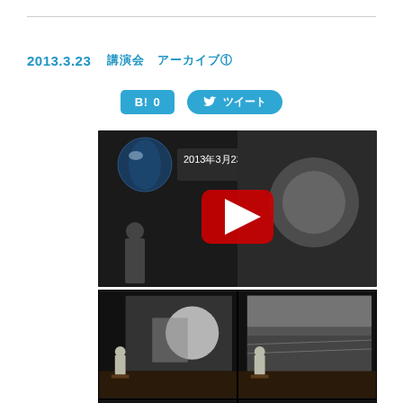2013.3.23　講演会 アーカイブ①
[Figure (screenshot): Social sharing buttons: Hatena Bookmark (B! 0) and Twitter tweet button]
[Figure (screenshot): YouTube video thumbnail showing lecture 2013年3月23日 講演... with play button overlay, dark background with presenter silhouette and globe image]
[Figure (photo): Grid of 4 lecture photos showing a presenter at a podium with projection screen displaying historical space/moon images]